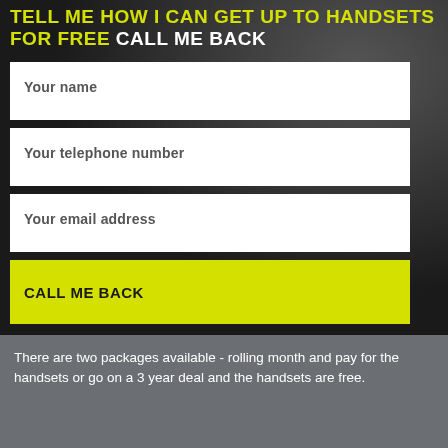TELL ME HOW I CAN GET UP TO HANDSETS FOR FREE CALL ME BACK
Your name
Your telephone number
Your email address
CALL ME BACK
There are two packages available - rolling month and pay for the handsets or go on a 3 year deal and the handsets are free.